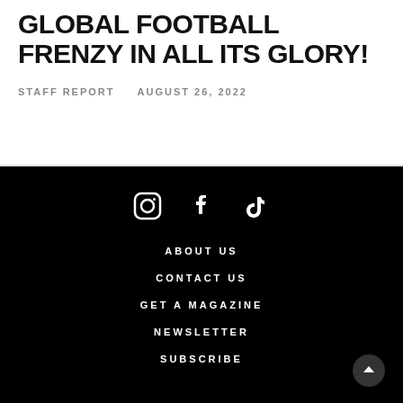GLOBAL FOOTBALL FRENZY IN ALL ITS GLORY!
STAFF REPORT  AUGUST 26, 2022
[Figure (other): Social media icons: Instagram, Facebook, TikTok in white on black background]
ABOUT US
CONTACT US
GET A MAGAZINE
NEWSLETTER
SUBSCRIBE
Scroll to top button